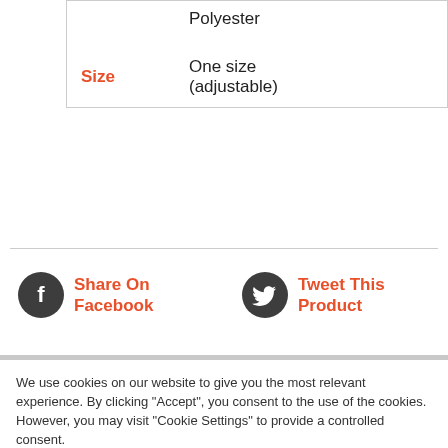|  | Polyester |
| Size | One size (adjustable) |
Share On Facebook
Tweet This Product
We use cookies on our website to give you the most relevant experience. By clicking “Accept”, you consent to the use of the cookies. However, you may visit “Cookie Settings” to provide a controlled consent.
Review Settings
Accept